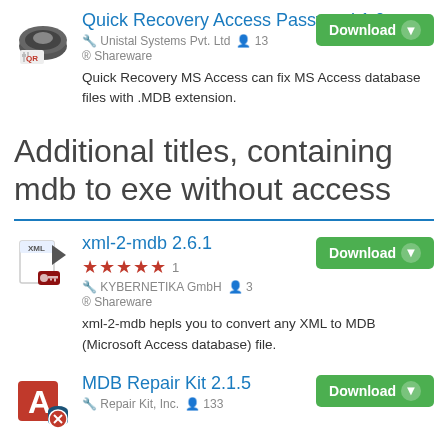[Figure (logo): Quick Recovery software icon - disk with QR label]
Quick Recovery Access Password 1.0
Unistal Systems Pvt. Ltd  13  Shareware
[Figure (logo): Download button - green rounded rectangle]
Quick Recovery MS Access can fix MS Access database files with .MDB extension.
Additional titles, containing mdb to exe without access
[Figure (logo): xml-2-mdb software icon - XML file with key]
xml-2-mdb 2.6.1
★★★★★ 1  KYBERNETIKA GmbH  3  Shareware
[Figure (logo): Download button - green rounded rectangle]
xml-2-mdb hepls you to convert any XML to MDB (Microsoft Access database) file.
[Figure (logo): MDB Repair Kit software icon - letter A with database]
MDB Repair Kit 2.1.5
Repair Kit, Inc.  133
[Figure (logo): Download button - green rounded rectangle]